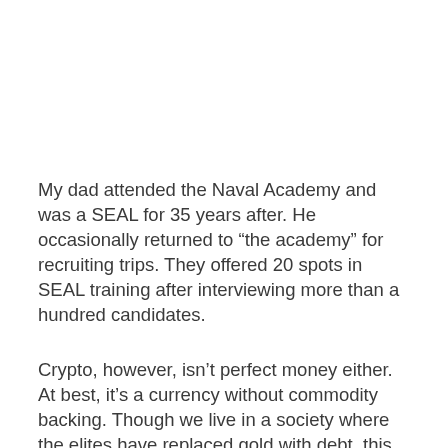My dad attended the Naval Academy and was a SEAL for 35 years after. He occasionally returned to “the academy” for recruiting trips. They offered 20 spots in SEAL training after interviewing more than a hundred candidates.
Crypto, however, isn’t perfect money either. At best, it’s a currency without commodity backing. Though we live in a society where the elites have replaced gold with debt, this doesn’t mean we must continue their mission to destroy money’s intrinsic value. As history shows, we need a gold-backed currency to reverse the sickness that fiat currencies have